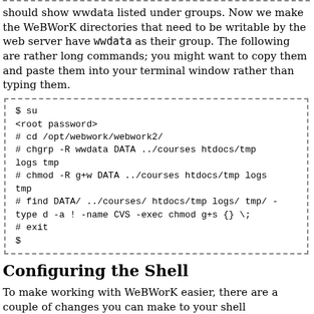should show wwdata listed under groups. Now we make the WeBWorK directories that need to be writable by the web server have wwdata as their group. The following are rather long commands; you might want to copy them and paste them into your terminal window rather than typing them.
[Figure (other): Code block with dashed border containing shell commands: $ su, <root password>, # cd /opt/webwork/webwork2/, # chgrp -R wwdata DATA ../courses htdocs/tmp logs tmp, # chmod -R g+w DATA ../courses htdocs/tmp logs tmp, # find DATA/ ../courses/ htdocs/tmp logs/ tmp/ -type d -a ! -name CVS -exec chmod g+s {} \;, # exit, $]
Configuring the Shell
To make working with WeBWorK easier, there are a couple of changes you can make to your shell environment.